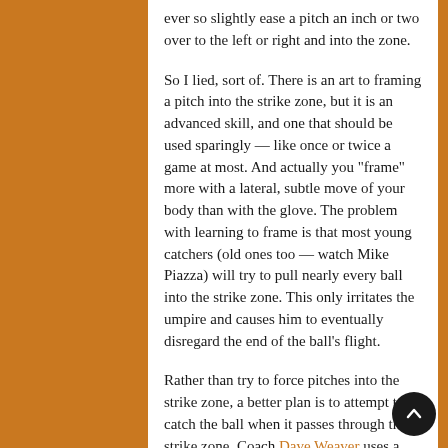ever so slightly ease a pitch an inch or two over to the left or right and into the zone.

So I lied, sort of. There is an art to framing a pitch into the strike zone, but it is an advanced skill, and one that should be used sparingly — like once or twice a game at most. And actually you "frame" more with a lateral, subtle move of your body than with the glove. The problem with learning to frame is that most young catchers (old ones too — watch Mike Piazza) will try to pull nearly every ball into the strike zone. This only irritates the umpire and causes him to eventually disregard the end of the ball's flight.

Rather than try to force pitches into the strike zone, a better plan is to attempt to catch the ball when it passes through the strike zone. Coach Dave Weaver uses a term I like; he says "beat the ball to the spot". Again, this isn't something you can do on every pitch — unless you have a guy like Tom Glavine who is always around the plate. Most pitches will move a bit — to the left, right, or vertically — and sometimes you might